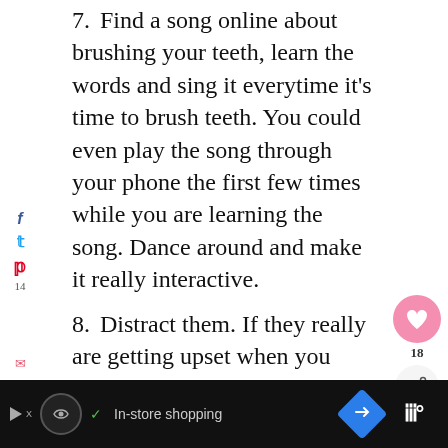7. Find a song online about brushing your teeth, learn the words and sing it everytime it's time to brush teeth. You could even play the song through your phone the first few times while you are learning the song. Dance around and make it really interactive.
8. Distract them. If they really are getting upset when you need to brush their teeth do it front of their favourite TV show so they don't get so stressed.
9. Keep to a regular tooth brushing routine.